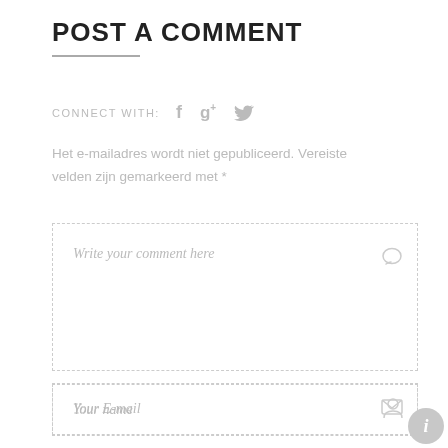POST A COMMENT
CONNECT WITH:
[Figure (illustration): Social media icons: Facebook (f), Google+ (g+), Twitter (bird)]
Het e-mailadres wordt niet gepubliceerd. Vereiste velden zijn gemarkeerd met *
[Figure (screenshot): Comment text area input field with placeholder 'Write your comment here' and a speech bubble icon]
[Figure (screenshot): Name input field with placeholder 'Your name' and a person icon]
[Figure (screenshot): Email input field with placeholder 'Your E-mail' and an envelope icon, with an info bubble on the right]